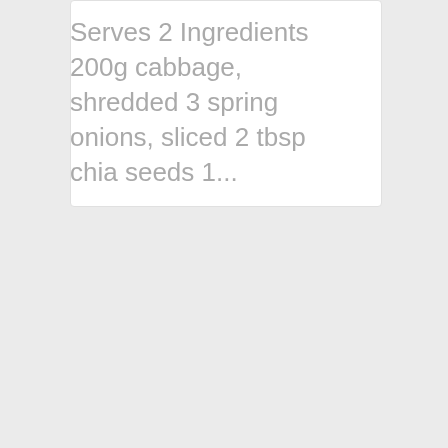Serves 2 Ingredients 200g cabbage, shredded 3 spring onions, sliced 2 tbsp chia seeds 1...